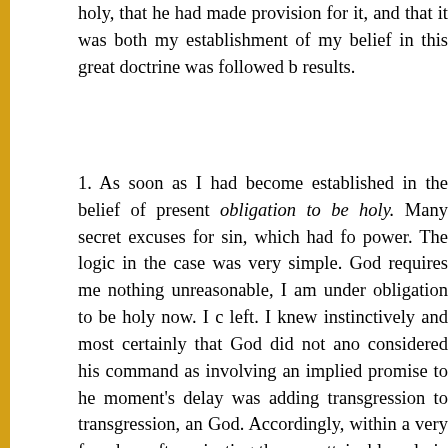holy, that he had made provision for it, and that it was both my establishment of my belief in this great doctrine was followed b results.
1. As soon as I had become established in the belief of present obligation to be holy. Many secret excuses for sin, which had fo power. The logic in the case was very simple. God requires me nothing unreasonable, I am under obligation to be holy now. I c left. I knew instinctively and most certainly that God did not ano considered his command as involving an implied promise to he moment's delay was adding transgression to transgression, an God. Accordingly, within a very few days after rejecting the con attainable only in the article of death, and receiving the doctrine holiness, I consecrated my self to God, body and spirit, delibera communicated my purpose to no human being. There was noth volition; a calm and unchangeable resolution of mind; a purpos as any Christian is capable of making. But simple as it was, I re has, perhaps, affected my eternal destiny; I acknowledge that I darkness; that is to say; clouds were round about me, and I we unwavering confidence in God, that he would in his own time a